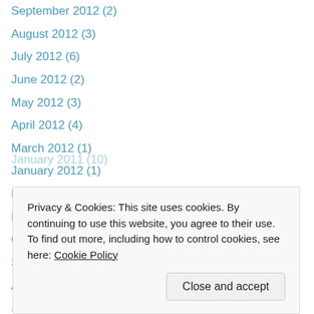September 2012 (2)
August 2012 (3)
July 2012 (6)
June 2012 (2)
May 2012 (3)
April 2012 (4)
March 2012 (1)
January 2012 (1)
December 2011 (3)
November 2011 (8)
October 2011 (9)
September 2011 (8)
August 2011 (13)
July 2011 (6)
January 2011 (10)
Privacy & Cookies: This site uses cookies. By continuing to use this website, you agree to their use. To find out more, including how to control cookies, see here: Cookie Policy